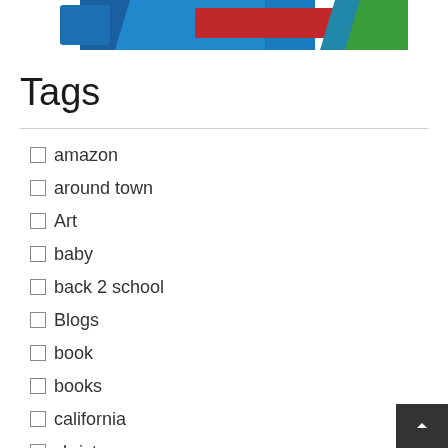[Figure (screenshot): Partial banner image with blue, red, and green colors at the top of the page]
Tags
amazon
around town
Art
baby
back 2 school
Blogs
book
books
california
christmas
cooking
deals